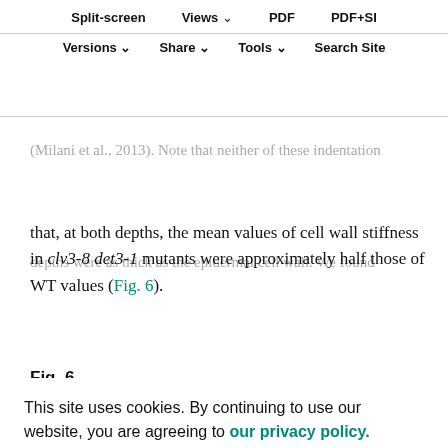Split-screen  Views  PDF  PDF+SI  Versions  Share  Tools  Search Site
albeit at depths that are slightly more sensitive to parameters such as turgor pressure and wall geometry (Milani et al., 2013). Note that neither of these indentation depths were as thick as the epidermal cell wall. We found that, at both depths, the mean values of cell wall stiffness in clv3-8 det3-1 mutants were approximately half those of WT values (Fig. 6).
Fig. 6.
[Figure (bar-chart): Bar chart showing Local Stiffness values, y-axis from approximately 50 to 60, partially visible]
[Figure (bar-chart): Bar chart showing Global Stiffness values, y-axis showing 25 and 30, partially visible]
This site uses cookies. By continuing to use our website, you are agreeing to our privacy policy. Accept